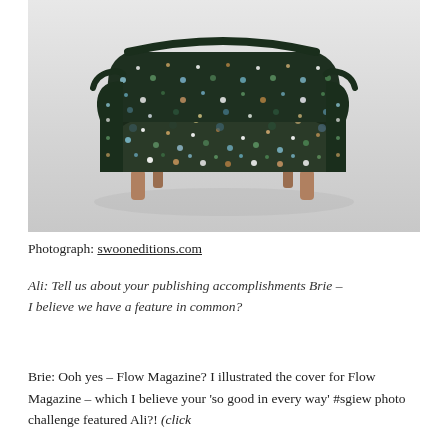[Figure (photo): A small two-seater sofa/loveseat upholstered in a dark floral/botanical pattern fabric with light wood tapered legs, photographed against a light grey studio background.]
Photograph: swooneditions.com
Ali: Tell us about your publishing accomplishments Brie – I believe we have a feature in common?
Brie: Ooh yes – Flow Magazine? I illustrated the cover for Flow Magazine – which I believe your 'so good in every way' #sgiew photo challenge featured Ali?! (click